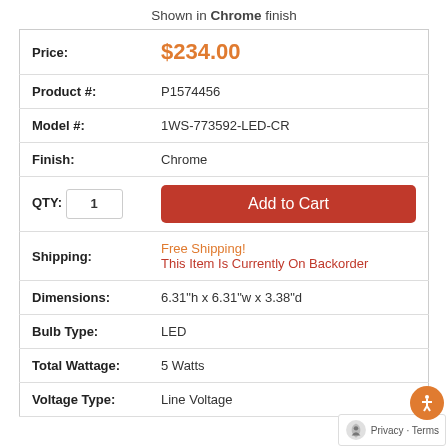Shown in Chrome finish
| Price: | $234.00 |
| Product #: | P1574456 |
| Model #: | 1WS-773592-LED-CR |
| Finish: | Chrome |
| QTY: | 1  Add to Cart |
| Shipping: | Free Shipping!
This Item Is Currently On Backorder |
| Dimensions: | 6.31"h x 6.31"w x 3.38"d |
| Bulb Type: | LED |
| Total Wattage: | 5 Watts |
| Voltage Type: | Line Voltage |